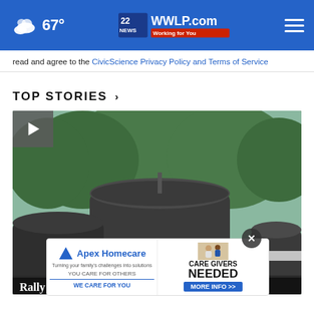67° — 22WWLP.com Working for You
read and agree to the CivicScience Privacy Policy and Terms of Service
TOP STORIES ›
[Figure (photo): Video thumbnail showing large dark cylindrical pressure vessels or tanks with tree in background. Play button in top-left corner. Ad overlay for Apex Homecare 'Care Givers Needed' visible. Partially visible headline at bottom reading 'Rally...' text.]